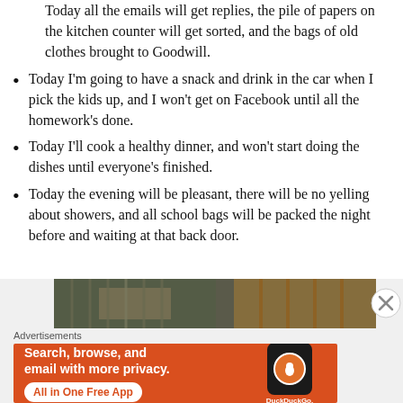Today all the emails will get replies, the pile of papers on the kitchen counter will get sorted, and the bags of old clothes brought to Goodwill.
Today I'm going to have a snack and drink in the car when I pick the kids up, and I won't get on Facebook until all the homework's done.
Today I'll cook a healthy dinner, and won't start doing the dishes until everyone's finished.
Today the evening will be pleasant, there will be no yelling about showers, and all school bags will be packed the night before and waiting at that back door.
[Figure (photo): Partial photo of outdoor scene with wooden fence/slats background]
Advertisements
[Figure (other): DuckDuckGo advertisement banner: Search, browse, and email with more privacy. All in One Free App. Shows DuckDuckGo logo on a phone graphic.]